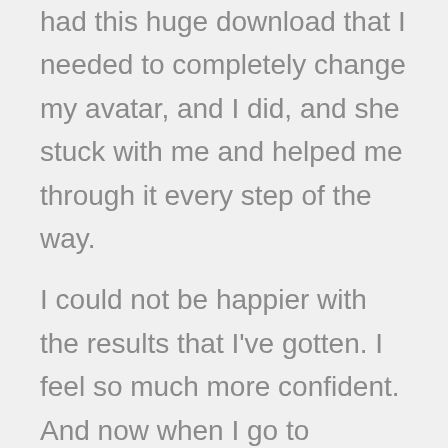had this huge download that I needed to completely change my avatar, and I did, and she stuck with me and helped me through it every step of the way.
I could not be happier with the results that I've gotten. I feel so much more confident. And now when I go to programs or talk with other coaches, I am so much better prepared for coaching than so many of my colleagues.
And it is all thanks to The Coaches Accelerator program, so I just can't